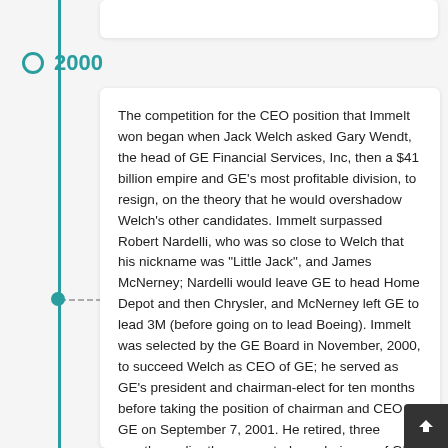2000
The competition for the CEO position that Immelt won began when Jack Welch asked Gary Wendt, the head of GE Financial Services, Inc, then a $41 billion empire and GE's most profitable division, to resign, on the theory that he would overshadow Welch's other candidates. Immelt surpassed Robert Nardelli, who was so close to Welch that his nickname was "Little Jack", and James McNerney; Nardelli would leave GE to head Home Depot and then Chrysler, and McNerney left GE to lead 3M (before going on to lead Boeing). Immelt was selected by the GE Board in November, 2000, to succeed Welch as CEO of GE; he served as GE's president and chairman-elect for ten months before taking the position of chairman and CEO of GE on September 7, 2001. He retired, three months earlier than expected, as chairman of GE's